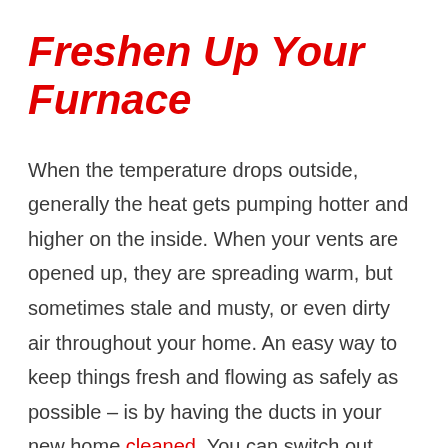Freshen Up Your Furnace
When the temperature drops outside, generally the heat gets pumping hotter and higher on the inside. When your vents are opened up, they are spreading warm, but sometimes stale and musty, or even dirty  air throughout your home. An easy way to keep things fresh and flowing as safely as possible – is by having the ducts in your new home cleaned. You can switch out filters on your own, and should regularly, but actually getting in there to remove dust and build up